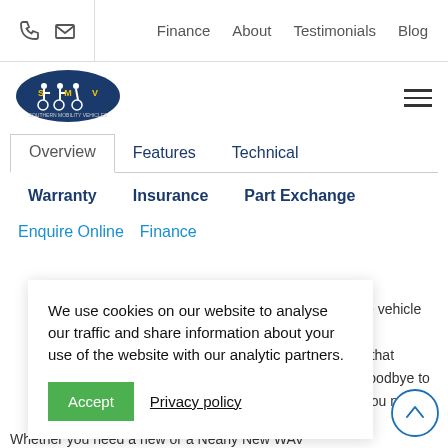Finance  About  Testimonials  Blog
[Figure (logo): Southern Mobility Vehicles logo — oval dark blue badge with wheelchair users and SMV text]
Overview
Features
Technical
Warranty
Insurance
Part Exchange
Enquire Online
Finance
We use cookies on our website to analyse our traffic and share information about your use of the website with our analytic partners.
Accept  Privacy policy
ible vehicle
his
se that
r goodbye to
e you need.
Whether you need a new or a Nearly New WAV